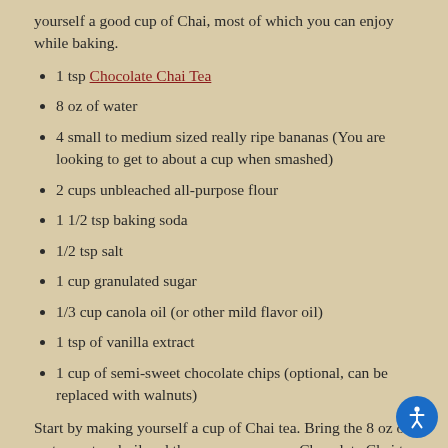yourself a good cup of Chai, most of which you can enjoy while baking.
1 tsp Chocolate Chai Tea
8 oz of water
4 small to medium sized really ripe bananas (You are looking to get to about a cup when smashed)
2 cups unbleached all-purpose flour
1 1/2 tsp baking soda
1/2 tsp salt
1 cup granulated sugar
1/3 cup canola oil (or other mild flavor oil)
1 tsp of vanilla extract
1 cup of semi-sweet chocolate chips (optional, can be replaced with walnuts)
Start by making yourself a cup of Chai tea. Bring the 8 oz of water up to a boil and then pour over your Chocolate Chai tea leaves and allow to steep for 5 minutes. While that is steeping